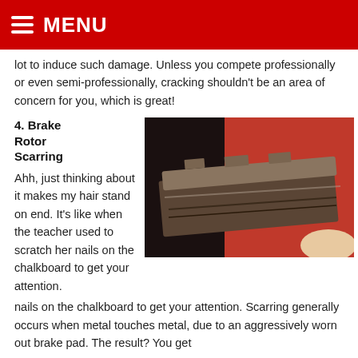MENU
lot to induce such damage. Unless you compete professionally or even semi-professionally, cracking shouldn't be an area of concern for you, which is great!
4. Brake Rotor Scarring
Ahh, just thinking about it makes my hair stand on end. It's like when the teacher used to scratch her nails on the chalkboard to get your attention. Scarring generally occurs when metal touches metal, due to an aggressively worn out brake pad. The result? You get
[Figure (photo): Close-up photo of a worn brake rotor/pad showing scarring damage, with a red background visible behind the metal component.]